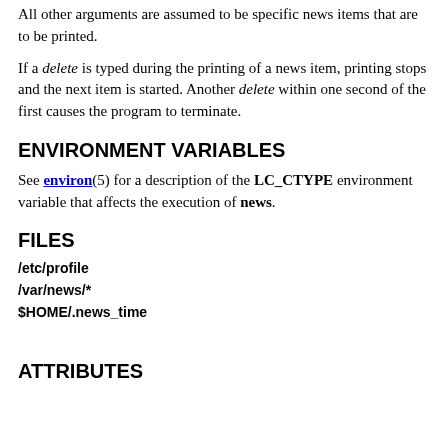All other arguments are assumed to be specific news items that are to be printed.
If a delete is typed during the printing of a news item, printing stops and the next item is started. Another delete within one second of the first causes the program to terminate.
ENVIRONMENT VARIABLES
See environ(5) for a description of the LC_CTYPE environment variable that affects the execution of news.
FILES
/etc/profile
/var/news/*
$HOME/.news_time
ATTRIBUTES